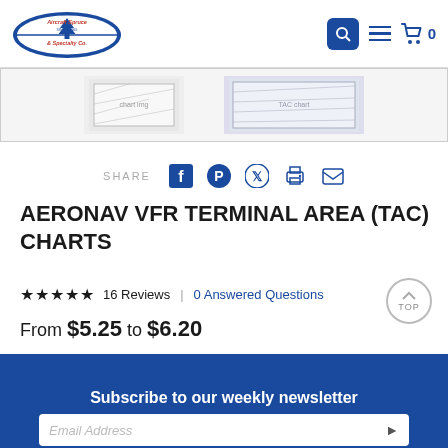Aircraft Spruce & Specialty Co. — navigation header with search, menu, and cart icons
[Figure (screenshot): Product image strip showing two thumbnail images of aeronautical charts]
SHARE
AERONAV VFR TERMINAL AREA (TAC) CHARTS
★★★★★ 16 Reviews | 0 Answered Questions
From $5.25 to $6.20
Subscribe to our weekly newsletter
New product announcements, promotions, discounts, & events.
Email Address